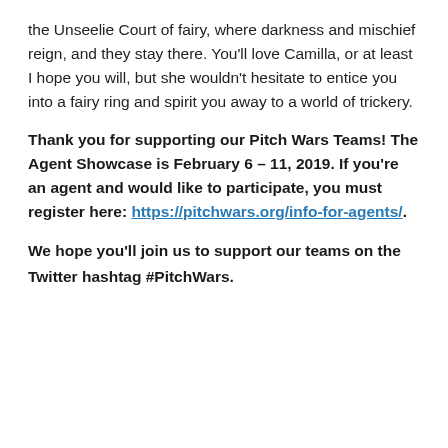the Unseelie Court of fairy, where darkness and mischief reign, and they stay there. You'll love Camilla, or at least I hope you will, but she wouldn't hesitate to entice you into a fairy ring and spirit you away to a world of trickery.
Thank you for supporting our Pitch Wars Teams! The Agent Showcase is February 6 – 11, 2019. If you're an agent and would like to participate, you must register here: https://pitchwars.org/info-for-agents/.
We hope you'll join us to support our teams on the Twitter hashtag #PitchWars.